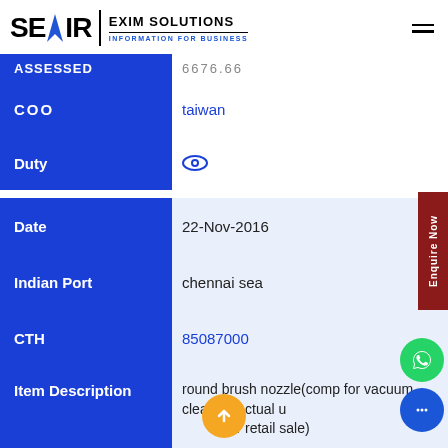SEAIR EXIM SOLUTIONS — INFORMATION FOR BUSINESS
| Field | Value |
| --- | --- |
| Assessed | 6676.66 |
| COO | taiwan |
| Duty | (eye icon) |
| Date | 22-Nov-2016 |
| Indian Port | chennai sea |
| CTH | 85087000 |
| Item Description | round brush nozzle(comp for vacuum cleaner)(actual ut for retail sale) |